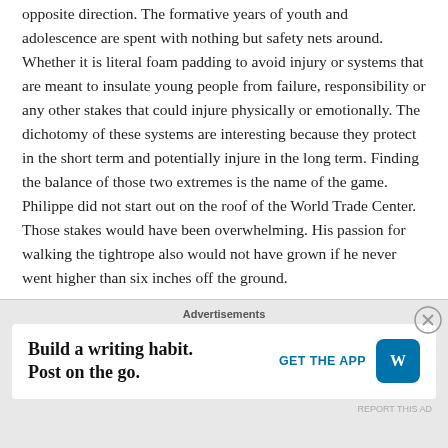opposite direction.  The formative years of youth and adolescence are spent with nothing but safety nets around.  Whether it is literal foam padding to avoid injury or systems that are meant to insulate young people from failure, responsibility or any other stakes that could injure physically or emotionally.  The dichotomy of these systems are interesting because they protect in the short term and potentially injure in the long term.  Finding the balance of those two extremes is the name of the game.  Philippe did not start out on the roof of the World Trade Center.  Those stakes would have been overwhelming.  His passion for walking the tightrope also would not have grown if he never went higher than six inches off the ground.
For each one of us, we have things that could grow into
[Figure (other): Advertisement banner: 'Build a writing habit. Post on the go.' with a GET THE APP call to action and WordPress logo]